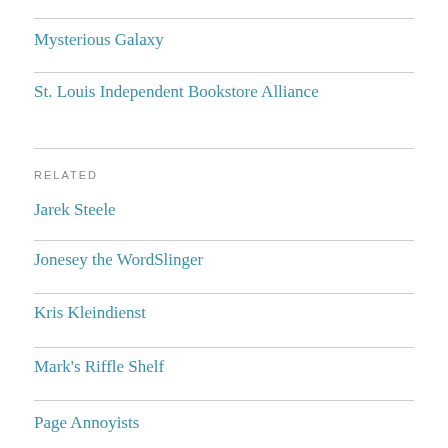Mysterious Galaxy
St. Louis Independent Bookstore Alliance
RELATED
Jarek Steele
Jonesey the WordSlinger
Kris Kleindienst
Mark's Riffle Shelf
Page Annoyists